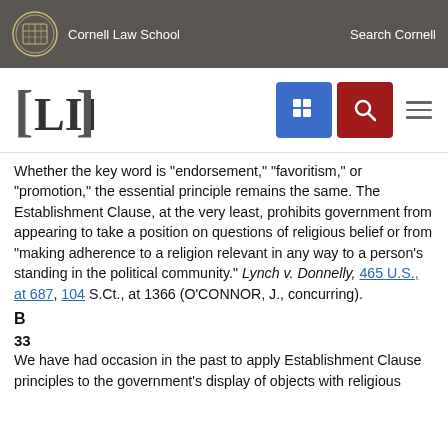Cornell Law School | Search Cornell
[Figure (logo): LII Legal Information Institute logo with Cornell Law School navigation bar including grid icon and search icon]
Whether the key word is "endorsement," "favoritism," or "promotion," the essential principle remains the same. The Establishment Clause, at the very least, prohibits government from appearing to take a position on questions of religious belief or from "making adherence to a religion relevant in any way to a person's standing in the political community." Lynch v. Donnelly, 465 U.S., at 687, 104 S.Ct., at 1366 (O'CONNOR, J., concurring).
B
33
We have had occasion in the past to apply Establishment Clause principles to the government's display of objects with religious